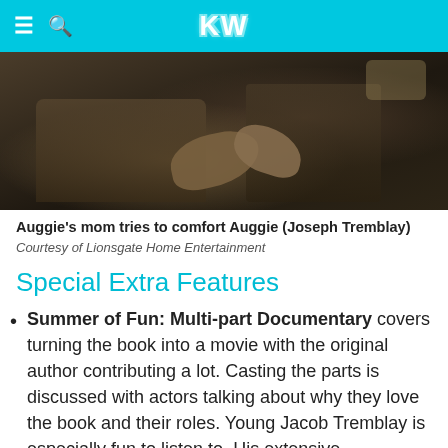KW
[Figure (photo): Dark scene showing Auggie's mom trying to comfort Auggie (Joseph Tremblay), two figures with hands visible in a dimly lit room]
Auggie's mom tries to comfort Auggie (Joseph Tremblay)
Courtesy of Lionsgate Home Entertainment
Special Extra Features
Summer of Fun: Multi-part Documentary covers turning the book into a movie with the original author contributing a lot. Casting the parts is discussed with actors talking about why they love the book and their roles. Young Jacob Tremblay is especially fun to listen to. His extensive